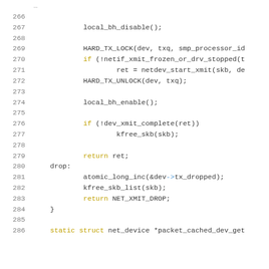[Figure (screenshot): Source code listing in C, lines 266-286, showing network transmit function with local_bh_disable/enable, HARD_TX_LOCK/UNLOCK, netif_xmit, dev_xmit_complete, kfree_skb, return statements, drop label, and static struct declaration.]